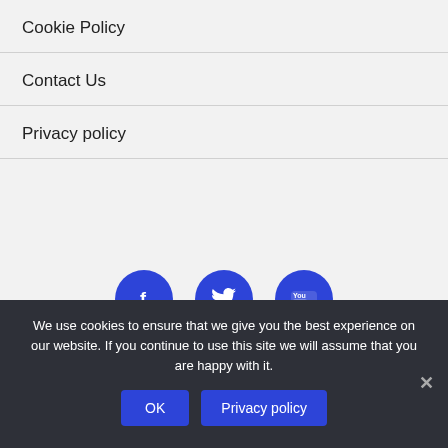Cookie Policy
Contact Us
Privacy policy
[Figure (other): Three circular blue social media buttons: Facebook (f), Twitter (bird), YouTube (You/tube logo)]
We use cookies to ensure that we give you the best experience on our website. If you continue to use this site we will assume that you are happy with it.
OK   Privacy policy